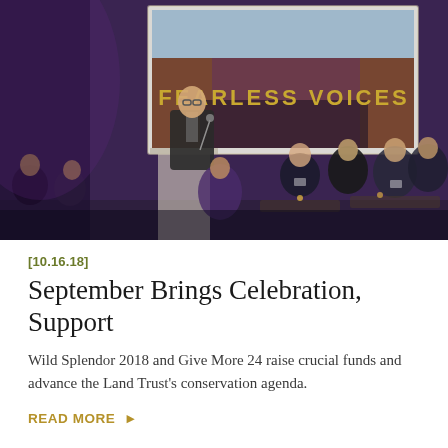[Figure (photo): A speaker at a podium presenting at the Wild Splendor 2018 event, with a large projected screen behind showing 'FEARLESS VOICES' text over a landscape image. An audience is seated at tables in the background in a dimly lit purple-tinted venue.]
[10.16.18]
September Brings Celebration, Support
Wild Splendor 2018 and Give More 24 raise crucial funds and advance the Land Trust's conservation agenda.
READ MORE ▶